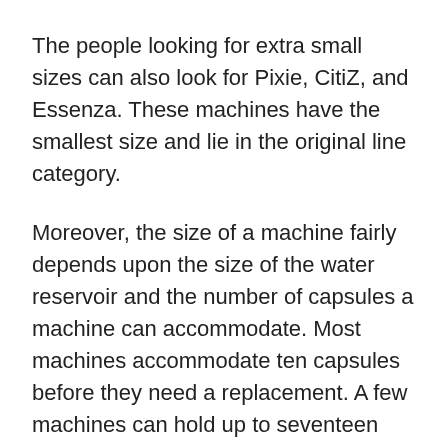The people looking for extra small sizes can also look for Pixie, CitiZ, and Essenza. These machines have the smallest size and lie in the original line category.
Moreover, the size of a machine fairly depends upon the size of the water reservoir and the number of capsules a machine can accommodate. Most machines accommodate ten capsules before they need a replacement. A few machines can hold up to seventeen capsules at the same time.
Buying a high-capacity machine can save your